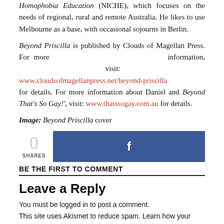Homophobia Education (NICHE), which focuses on the needs of regional, rural and remote Australia. He likes to use Melbourne as a base, with occasional sojourns in Berlin.
Beyond Priscilla is published by Clouds of Magellan Press. For more information, visit: www.cloudsofmagellanpress.net/beyond-priscilla for details. For more information about Daniel and Beyond That's So Gay!', visit: www.thatssogay.com.au for details.
Image: Beyond Priscilla cover
[Figure (infographic): Social share counter showing 0 SHARES and a Facebook share button]
BE THE FIRST TO COMMENT
Leave a Reply
You must be logged in to post a comment.
This site uses Akismet to reduce spam. Learn how your